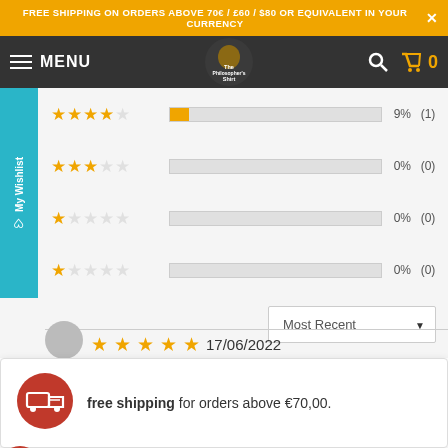FREE SHIPPING ON ORDERS ABOVE 70€ / £60 / $80 OR EQUIVALENT IN YOUR CURRENCY
[Figure (screenshot): Navigation bar with hamburger menu, MENU text, The Philosopher's Shirt logo, search icon, and cart showing 0]
[Figure (bar-chart): Star rating distribution: 4-star 9% (1), 3-star 0% (0), 2-star 0% (0), 1-star 0% (0)]
Most Recent ▼
[Figure (screenshot): Review row showing 5 gold stars and date 17/06/2022 with reviewer avatar]
free shipping for orders above €70,00.
hy we stand out: e quality of the print / embroidery, The variety of the designs